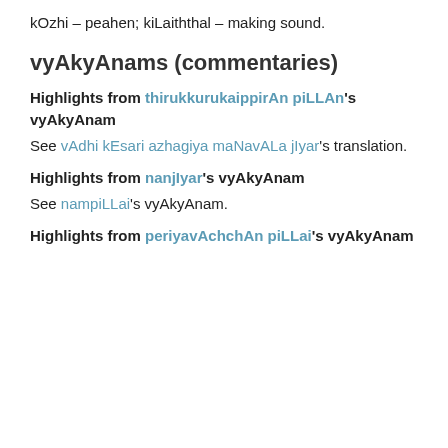kOzhi – peahen; kiLaiththal – making sound.
vyAkyAnams (commentaries)
Highlights from thirukkurukaippirAn piLLAn's vyAkyAnam
See vAdhi kEsari azhagiya maNavALa jIyar's translation.
Highlights from nanjIyar's vyAkyAnam
See nampiLLai's vyAkyAnam.
Highlights from periyavAchchAn piLLai's vyAkyAnam